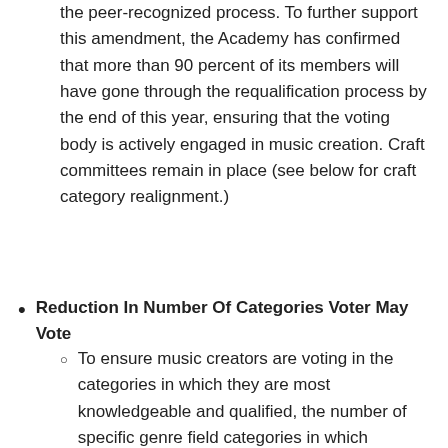the peer-recognized process. To further support this amendment, the Academy has confirmed that more than 90 percent of its members will have gone through the requalification process by the end of this year, ensuring that the voting body is actively engaged in music creation. Craft committees remain in place (see below for craft category realignment.)
Reduction In Number Of Categories Voter May Vote
To ensure music creators are voting in the categories in which they are most knowledgeable and qualified, the number of specific genre field categories in which GRAMMY Award Voters may vote has been reduced from 15 to 10. Additionally, those 10 categories must be within no more than three fields. All voters are permitted to vote in the